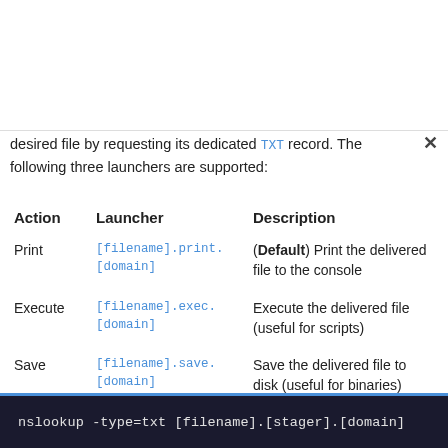desired file by requesting its dedicated TXT record. The following three launchers are supported:
| Action | Launcher | Description |
| --- | --- | --- |
| Print | [filename].print.
[domain] | (Default) Print the delivered file to the console |
| Execute | [filename].exec.
[domain] | Execute the delivered file (useful for scripts) |
| Save | [filename].save.
[domain] | Save the delivered file to disk (useful for binaries) |
nslookup -type=txt [filename].[stager].[domain]